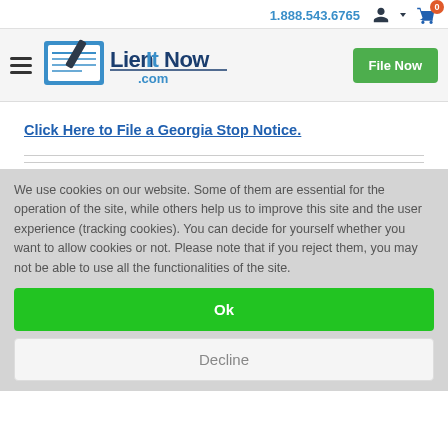1.888.543.6765
[Figure (logo): LienItNow.com logo with blue text and stylized checkbook graphic]
Click Here to File a Georgia Stop Notice.
We use cookies on our website. Some of them are essential for the operation of the site, while others help us to improve this site and the user experience (tracking cookies). You can decide for yourself whether you want to allow cookies or not. Please note that if you reject them, you may not be able to use all the functionalities of the site.
Ok
Decline